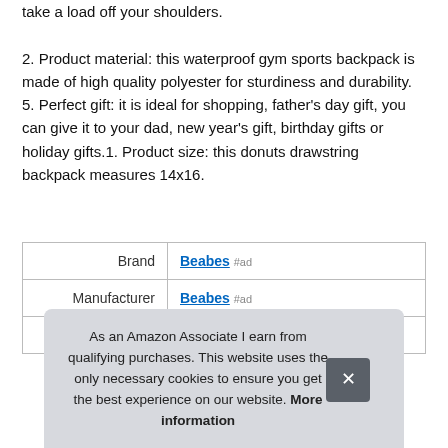take a load off your shoulders. 2. Product material: this waterproof gym sports backpack is made of high quality polyester for sturdiness and durability. 5. Perfect gift: it is ideal for shopping, father's day gift, you can give it to your dad, new year's gift, birthday gifts or holiday gifts.1. Product size: this donuts drawstring backpack measures 14x16.
|  |  |
| --- | --- |
| Brand | Beabes #ad |
| Manufacturer | Beabes #ad |
| Part Number | byw-skd1-fba-a171 |
As an Amazon Associate I earn from qualifying purchases. This website uses the only necessary cookies to ensure you get the best experience on our website. More information